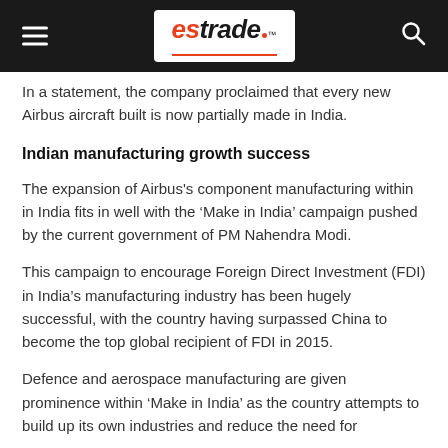estrade
In a statement, the company proclaimed that every new Airbus aircraft built is now partially made in India.
Indian manufacturing growth success
The expansion of Airbus's component manufacturing within in India fits in well with the ‘Make in India’ campaign pushed by the current government of PM Nahendra Modi.
This campaign to encourage Foreign Direct Investment (FDI) in India’s manufacturing industry has been hugely successful, with the country having surpassed China to become the top global recipient of FDI in 2015.
Defence and aerospace manufacturing are given prominence within ‘Make in India’ as the country attempts to build up its own industries and reduce the need for